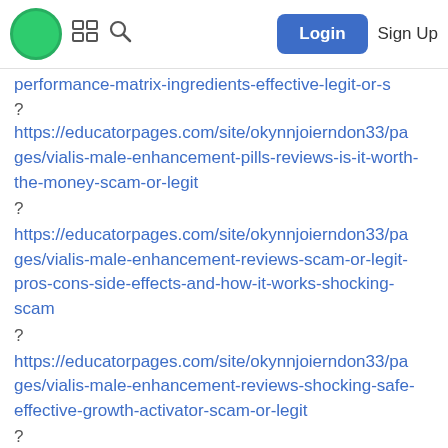Login | Sign Up
performance-matrix-ingredients-effective-legit-or-s
?
https://educatorpages.com/site/okynnjoierndon33/pages/vialis-male-enhancement-pills-reviews-is-it-worth-the-money-scam-or-legit
?
https://educatorpages.com/site/okynnjoierndon33/pages/vialis-male-enhancement-reviews-scam-or-legit-pros-cons-side-effects-and-how-it-works-shocking-scam
?
https://educatorpages.com/site/okynnjoierndon33/pages/vialis-male-enhancement-reviews-shocking-safe-effective-growth-activator-scam-or-legit
?
https://educatorpages.com/site/okynnjoierndon33/pages/vialis-male-enhancement-reviews-male-growth-